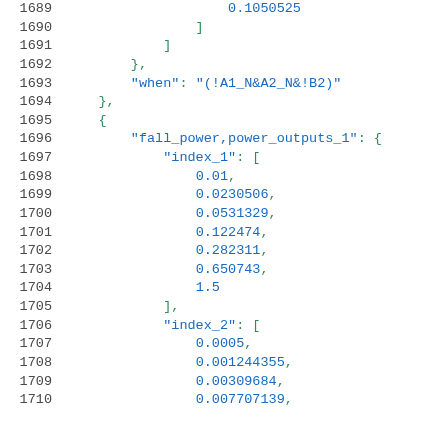Code listing lines 1689-1710 showing JSON structure with fall_power power_outputs_1 data including index_1 and index_2 arrays